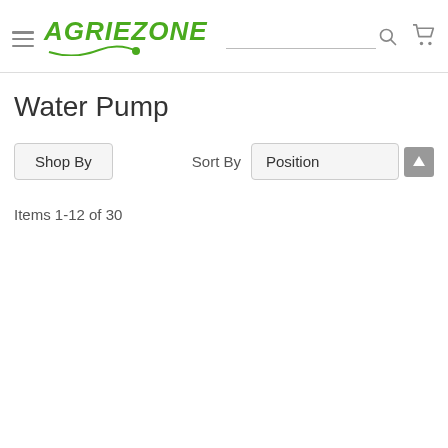AGRIEZONE — navigation header with hamburger menu, search bar, and cart icon
Water Pump
Shop By    Sort By  Position  ↑
Items 1-12 of 30